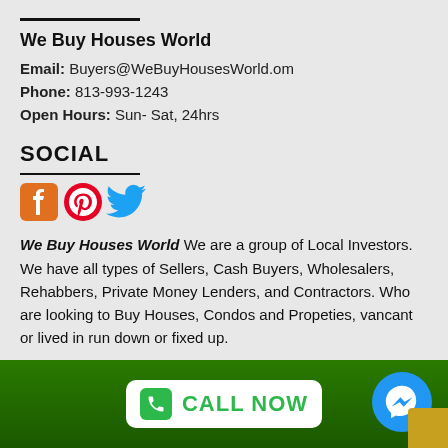We Buy Houses World
Email: Buyers@WeBuyHousesWorld.om
Phone: 813-993-1243
Open Hours: Sun- Sat, 24hrs
SOCIAL
[Figure (logo): Facebook, Pinterest, and Twitter social media icons]
We Buy Houses World We are a group of Local Investors. We have all types of Sellers, Cash Buyers, Wholesalers, Rehabbers, Private Money Lenders, and Contractors. Who are looking to Buy Houses, Condos and Propeties, vancant or lived in run down or fixed up.
[Figure (infographic): Green bottom bar with white CALL NOW button with green phone icon, and blue circular Messenger icon on the right with a gold corner element]